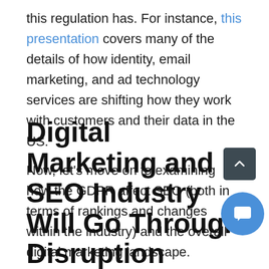this regulation has. For instance, this presentation covers many of the details of how identity, email marketing, and ad technology services are shifting how they work with customers and their data in the US.
Now, let's move on to examining how the GDPR affect SEO (both in terms of rankings and changes within the industry) and the overall digital marketing landscape.
Digital Marketing and SEO Industry Will Go Through Disruption